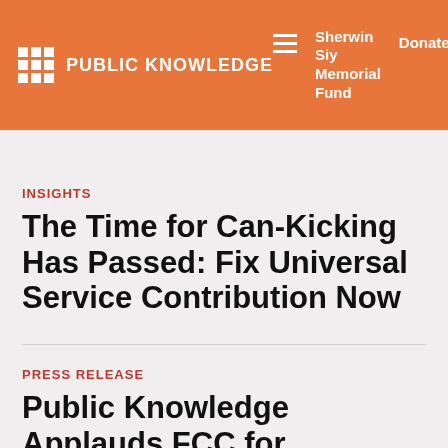PUBLIC KNOWLEDGE | Sherwin Siy Memorial Fund | Donate
INSIGHTS
The Time for Can-Kicking Has Passed: Fix Universal Service Contribution Now
PRESS RELEASE
Public Knowledge Applauds FCC for Approving Landmark...